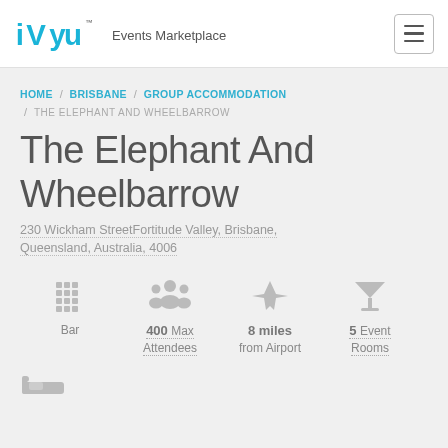[Figure (logo): iVvy Events Marketplace logo with teal stylized letters and TM mark]
HOME / BRISBANE / GROUP ACCOMMODATION / THE ELEPHANT AND WHEELBARROW
The Elephant And Wheelbarrow
230 Wickham StreetFortitude Valley, Brisbane, Queensland, Australia, 4006
Bar | 400 Max Attendees | 8 miles from Airport | 5 Event Rooms